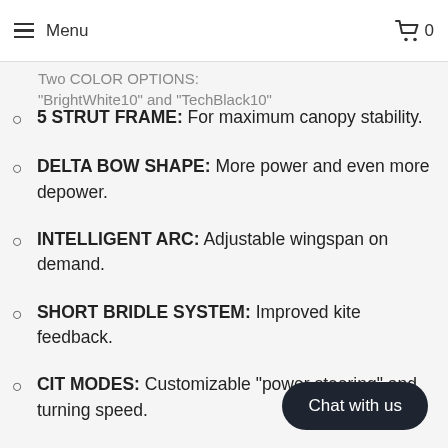Menu  0
Two COLOR OPTIONS: "BrightWhite10" and "TechBlack10"
5 STRUT FRAME: For maximum canopy stability.
DELTA BOW SHAPE: More power and even more depower.
INTELLIGENT ARC: Adjustable wingspan on demand.
SHORT BRIDLE SYSTEM: Improved kite feedback.
CIT MODES: Customizable “power steering” and turning speed.
INSTANT RELAUNCH: Easy water relaunches.